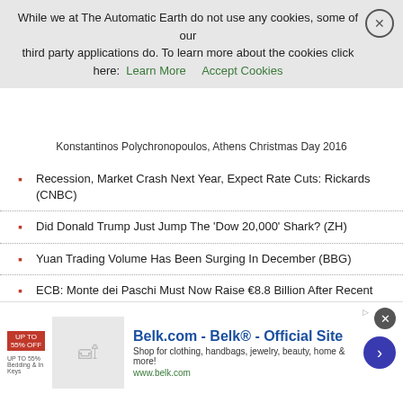While we at The Automatic Earth do not use any cookies, some of our third party applications do. To learn more about the cookies click here: Learn More  Accept Cookies
Konstantinos Polychronopoulos, Athens Christmas Day 2016
Recession, Market Crash Next Year, Expect Rate Cuts: Rickards (CNBC)
Did Donald Trump Just Jump The 'Dow 20,000' Shark? (ZH)
Yuan Trading Volume Has Been Surging In December (BBG)
ECB: Monte dei Paschi Must Now Raise €8.8 Billion After Recent Withdrawals (R.)
War & The Rejection of Peace (Rossini)
Israel Claims 'Evidence' That Obama Orchestrated UN Resolution (G.)
Corbyn Hits Back After Obama Suggests Labour Is 'Disintegrating' (G.)
[Figure (screenshot): Belk.com advertisement banner with logo, product image, and arrow button]